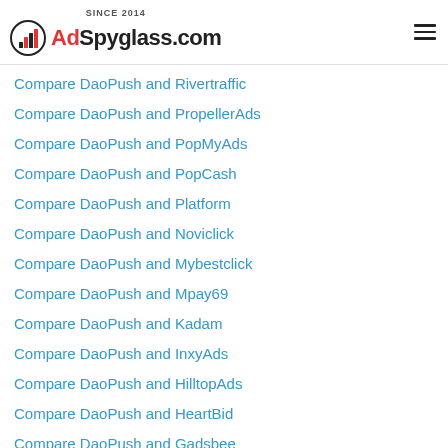SINCE 2014 AdSpyglass.com
Compare DaoPush and Rivertraffic
Compare DaoPush and PropellerAds
Compare DaoPush and PopMyAds
Compare DaoPush and PopCash
Compare DaoPush and Platform
Compare DaoPush and Noviclick
Compare DaoPush and Mybestclick
Compare DaoPush and Mpay69
Compare DaoPush and Kadam
Compare DaoPush and InxyAds
Compare DaoPush and HilltopAds
Compare DaoPush and HeartBid
Compare DaoPush and Gadsbee